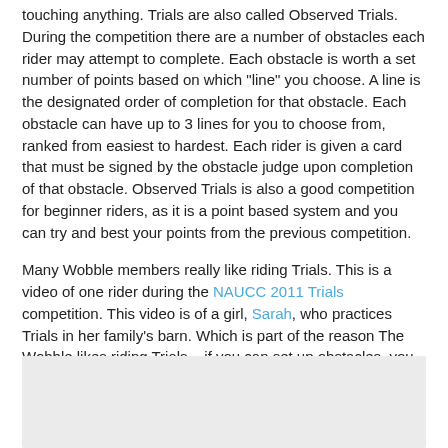touching anything. Trials are also called Observed Trials. During the competition there are a number of obstacles each rider may attempt to complete. Each obstacle is worth a set number of points based on which "line" you choose. A line is the designated order of completion for that obstacle. Each obstacle can have up to 3 lines for you to choose from, ranked from easiest to hardest. Each rider is given a card that must be signed by the obstacle judge upon completion of that obstacle. Observed Trials is also a good competition for beginner riders, as it is a point based system and you can try and best your points from the previous competition.
Many Wobble members really like riding Trials. This is a video of one rider during the NAUCC 2011 Trials competition. This video is of a girl, Sarah, who practices Trials in her family's barn. Which is part of the reason The Wobble likes riding Trials... if you can set up obstacles, you can practice riding.
[Figure (photo): Light gray rectangular placeholder image at the bottom of the page]